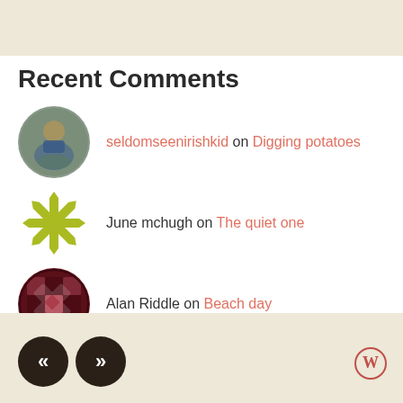Recent Comments
seldomseenirishkid on Digging potatoes
June mchugh on The quiet one
Alan Riddle on Beach day
jagwal on Coming out
Jonathan on Coming out